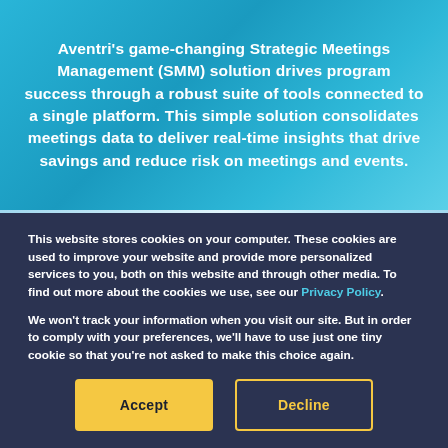Aventri's game-changing Strategic Meetings Management (SMM) solution drives program success through a robust suite of tools connected to a single platform. This simple solution consolidates meetings data to deliver real-time insights that drive savings and reduce risk on meetings and events.
This website stores cookies on your computer. These cookies are used to improve your website and provide more personalized services to you, both on this website and through other media. To find out more about the cookies we use, see our Privacy Policy.
We won't track your information when you visit our site. But in order to comply with your preferences, we'll have to use just one tiny cookie so that you're not asked to make this choice again.